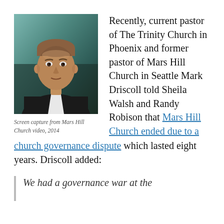[Figure (photo): Screen capture of a man (Mark Driscoll) from Mars Hill Church video, 2014. He is wearing a dark jacket and white shirt, with a blurred teal/green background.]
Screen capture from Mars Hill Church video, 2014
Recently, current pastor of The Trinity Church in Phoenix and former pastor of Mars Hill Church in Seattle Mark Driscoll told Sheila Walsh and Randy Robison that Mars Hill Church ended due to a church governance dispute which lasted eight years. Driscoll added:
We had a governance war at the church that went eight years behind